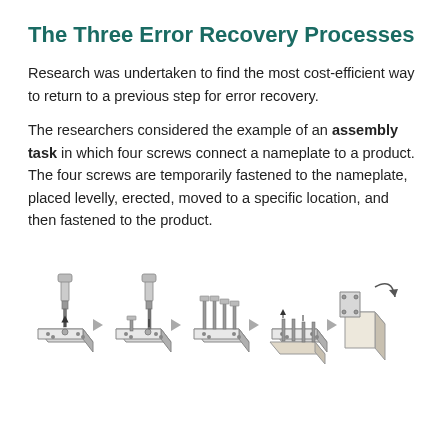The Three Error Recovery Processes
Research was undertaken to find the most cost-efficient way to return to a previous step for error recovery.
The researchers considered the example of an assembly task in which four screws connect a nameplate to a product. The four screws are temporarily fastened to the nameplate, placed levelly, erected, moved to a specific location, and then fastened to the product.
[Figure (illustration): Sequential assembly diagram showing five steps of screwing a nameplate to a product using four screws: (1) screwdriver inserting screw into flat plate, (2) second screw being inserted, (3) screws standing upright in plate, (4) plate positioned over product, (5) plate being rotated/erected onto product side, (6) final assembled product with nameplate fastened. Steps connected by arrows.]